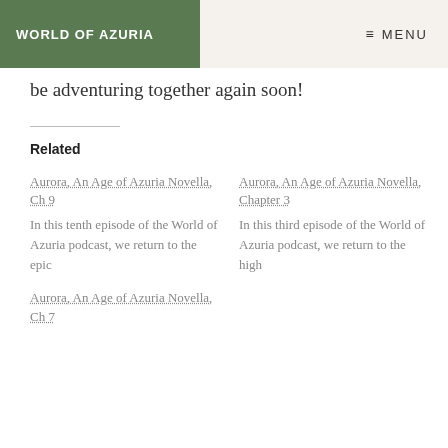WORLD OF AZURIA | MENU
be adventuring together again soon!
Related
Aurora, An Age of Azuria Novella, Ch 9
In this tenth episode of the World of Azuria podcast, we return to the epic
Aurora, An Age of Azuria Novella, Chapter 3
In this third episode of the World of Azuria podcast, we return to the high
Aurora, An Age of Azuria Novella, Ch 7